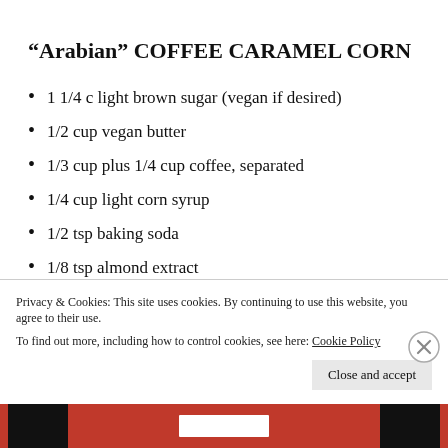“Arabian” COFFEE CARAMEL CORN
1 1/4 c light brown sugar (vegan if desired)
1/2 cup vegan butter
1/3 cup plus 1/4 cup coffee, separated
1/4 cup light corn syrup
1/2 tsp baking soda
1/8 tsp almond extract
Privacy & Cookies: This site uses cookies. By continuing to use this website, you agree to their use.
To find out more, including how to control cookies, see here: Cookie Policy
Close and accept